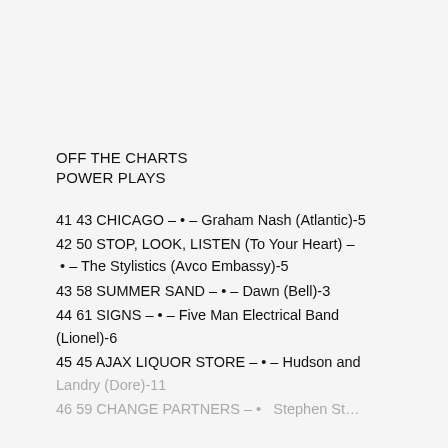OFF THE CHARTS
POWER PLAYS
41 43 CHICAGO – • – Graham Nash (Atlantic)-5
42 50 STOP, LOOK, LISTEN (To Your Heart) – • – The Stylistics (Avco Embassy)-5
43 58 SUMMER SAND – • – Dawn (Bell)-3
44 61 SIGNS – • – Five Man Electrical Band (Lionel)-6
45 45 AJAX LIQUOR STORE – • – Hudson and Landry (Dore)-11
46 59 CHANGE PARTNERS • – Stephen St…